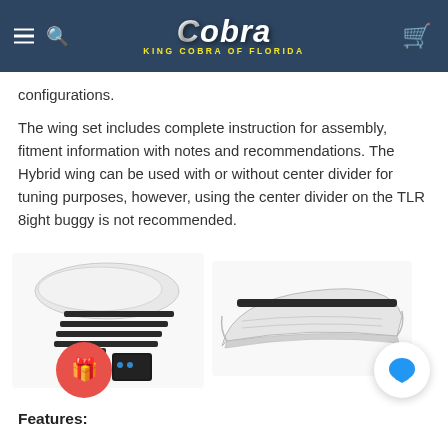King Cobra of Florida
configurations.
The wing set includes complete instruction for assembly, fitment information with notes and recommendations. The Hybrid wing can be used with or without center divider for tuning purposes, however, using the center divider on the TLR 8ight buggy is not recommended.
[Figure (photo): Product photo showing wing parts kit with black rods, brackets, and accessories on left; assembled white wing on right]
Features: